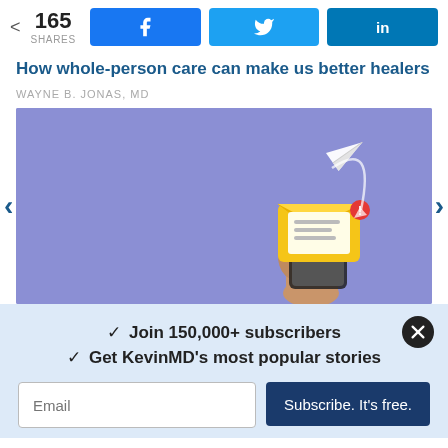165 SHARES
How whole-person care can make us better healers
WAYNE B. JONAS, MD
[Figure (illustration): Person's hand holding a yellow envelope with a paper airplane flying upward, on a purple/lavender background. Represents email newsletter subscription.]
✓ Join 150,000+ subscribers
✓ Get KevinMD's most popular stories
Email | Subscribe. It's free.